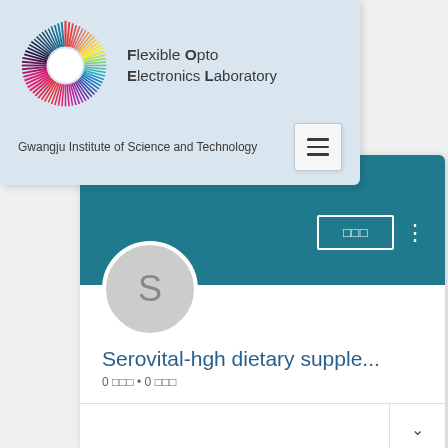[Figure (screenshot): Screenshot of Flexible Opto Electronics Laboratory website header with colorful circular logo and navigation hamburger button. Below is a Google+ style profile page for 'Serovital-hgh dietary supple...' with teal header, avatar circle with letter S, and channel metadata.]
Flexible Opto Electronics Laboratory
Gwangju Institute of Science and Technology
Serovital-hgh dietary supple...
0 □□□ • 0 □□□